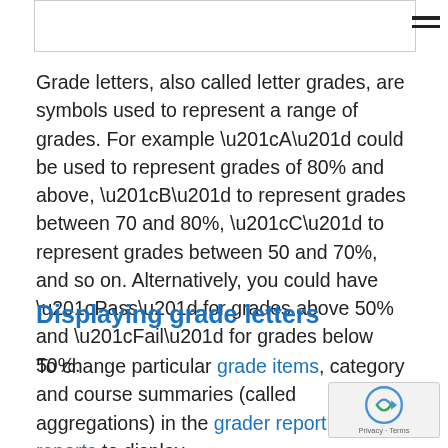Grade letters, also called letter grades, are symbols used to represent a range of grades. For example “A” could be used to represent grades of 80% and above, “B” to represent grades between 70 and 80%, “C” to represent grades between 50 and 70%, and so on. Alternatively, you could have “Pass” for grades above 50% and “Fail” for grades below 50%.
Displaying grade letters
To change particular grade items, category and course summaries (called aggregations) in the grader report and user reports to display